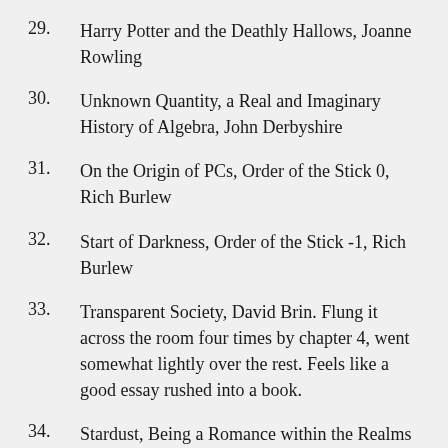29. Harry Potter and the Deathly Hallows, Joanne Rowling
30. Unknown Quantity, a Real and Imaginary History of Algebra, John Derbyshire
31. On the Origin of PCs, Order of the Stick 0, Rich Burlew
32. Start of Darkness, Order of the Stick -1, Rich Burlew
33. Transparent Society, David Brin. Flung it across the room four times by chapter 4, went somewhat lightly over the rest. Feels like a good essay rushed into a book.
34. Stardust, Being a Romance within the Realms of Faerie, Neil Gaiman and Charles Vess. I have no understanding of the relationship between this, the original comic books, and the novel. If there are substantial differences, I might enjoy those others